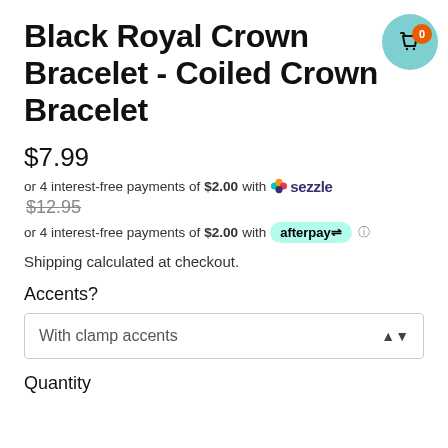Black Royal Crown Bracelet - Coiled Crown Bracelet
$7.99
or 4 interest-free payments of $2.00 with sezzle
$12.95
or 4 interest-free payments of $2.00 with afterpay
Shipping calculated at checkout.
Accents?
With clamp accents
Quantity